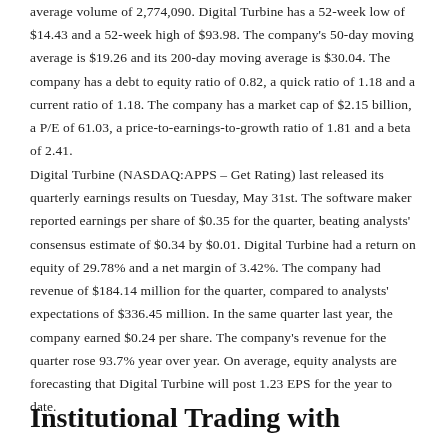average volume of 2,774,090. Digital Turbine has a 52-week low of $14.43 and a 52-week high of $93.98. The company's 50-day moving average is $19.26 and its 200-day moving average is $30.04. The company has a debt to equity ratio of 0.82, a quick ratio of 1.18 and a current ratio of 1.18. The company has a market cap of $2.15 billion, a P/E of 61.03, a price-to-earnings-to-growth ratio of 1.81 and a beta of 2.41.
Digital Turbine (NASDAQ:APPS – Get Rating) last released its quarterly earnings results on Tuesday, May 31st. The software maker reported earnings per share of $0.35 for the quarter, beating analysts' consensus estimate of $0.34 by $0.01. Digital Turbine had a return on equity of 29.78% and a net margin of 3.42%. The company had revenue of $184.14 million for the quarter, compared to analysts' expectations of $336.45 million. In the same quarter last year, the company earned $0.24 per share. The company's revenue for the quarter rose 93.7% year over year. On average, equity analysts are forecasting that Digital Turbine will post 1.23 EPS for the year to date.
Institutional Trading with